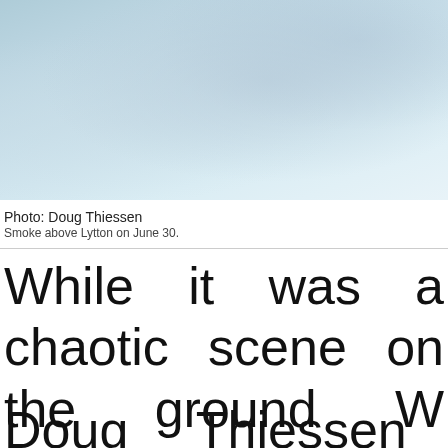[Figure (photo): Aerial or elevated photo of smoke above Lytton, showing pale blue sky and smoky haze.]
Photo: Doug Thiessen
Smoke above Lytton on June 30.
While it was a chaotic scene on the ground W evening in Lytton, one pilot had a different view fire that tore through the
Doug Thiessen left